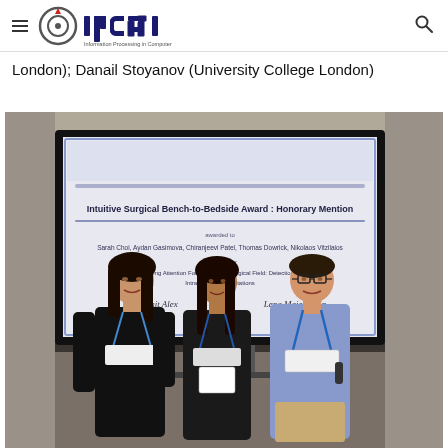IPCAI — Information Processing in Computer-Assisted Interventions
London); Danail Stoyanov (University College London)
[Figure (photo): Three people standing in front of a conference presentation screen showing an IPCAI 'Intuitive Surgical Bench-to-Bedside Award: Honorary Mention' certificate. Left: woman in black sleeveless top. Center: person with long dark hair in black shirt. Right: man in light blue shirt wearing glasses. All wearing conference lanyards.]